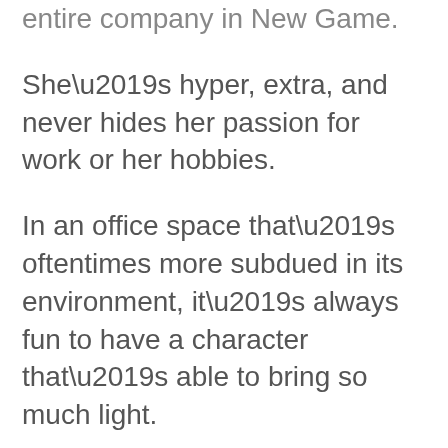entire company in New Game.
She’s hyper, extra, and never hides her passion for work or her hobbies.
In an office space that’s oftentimes more subdued in its environment, it’s always fun to have a character that’s able to bring so much light.
Hajime has a collection of all sorts of toys and figurines that she loves to show off, and even incorporates them into her work on animations by swinging swords around to understand how she wants to animate.
Talk about a kid at heart.